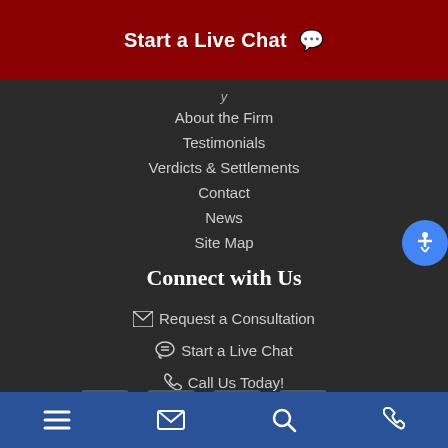Start a Live Chat 💬
About the Firm
Testimonials
Verdicts & Settlements
Contact
News
Site Map
Connect with Us
✉ Request a Consultation
💬 Start a Live Chat
📞 Call Us Today!
[Figure (other): Social media icons row: YouTube, Facebook, Twitter, RSS]
Navigation bar with menu, email, search, and phone icons